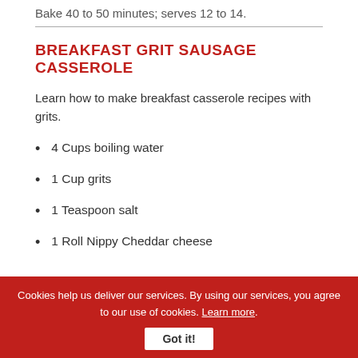Bake 40 to 50 minutes; serves 12 to 14.
BREAKFAST GRIT SAUSAGE CASSEROLE
Learn how to make breakfast casserole recipes with grits.
4 Cups boiling water
1 Cup grits
1 Teaspoon salt
1 Roll Nippy Cheddar cheese
Cookies help us deliver our services. By using our services, you agree to our use of cookies. Learn more. Got it!